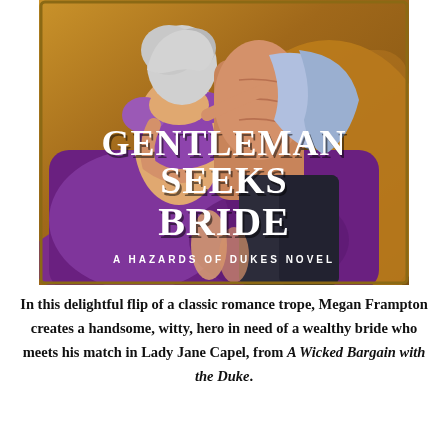[Figure (illustration): Book cover for 'Gentleman Seeks Bride: A Hazards of Dukes Novel' by Megan Frampton. Shows a woman in a purple off-shoulder gown with silver/white upswept hair embracing a shirtless man against a golden background. The title 'Gentleman Seeks Bride' is displayed in large white serif lettering, and beneath it 'A Hazards of Dukes Novel' in smaller caps.]
In this delightful flip of a classic romance trope, Megan Frampton creates a handsome, witty, hero in need of a wealthy bride who meets his match in Lady Jane Capel, from A Wicked Bargain with the Duke.